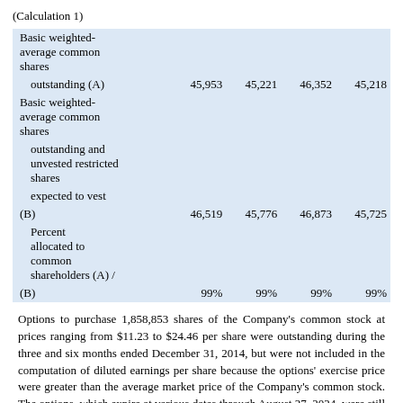(Calculation 1)
|  |  |  |  |  |
| --- | --- | --- | --- | --- |
| Basic weighted-average common shares outstanding (A) | 45,953 | 45,221 | 46,352 | 45,218 |
| Basic weighted-average common shares outstanding and unvested restricted shares expected to vest (B) | 46,519 | 45,776 | 46,873 | 45,725 |
| Percent allocated to common shareholders (A) / (B) | 99% | 99% | 99% | 99% |
Options to purchase 1,858,853 shares of the Company's common stock at prices ranging from $11.23 to $24.46 per share were outstanding during the three and six months ended December 31, 2014, but were not included in the computation of diluted earnings per share because the options' exercise price were greater than the average market price of the Company's common stock. The options, which expire at various dates through August 27, 2024, were still outstanding as of December 31, 2014.